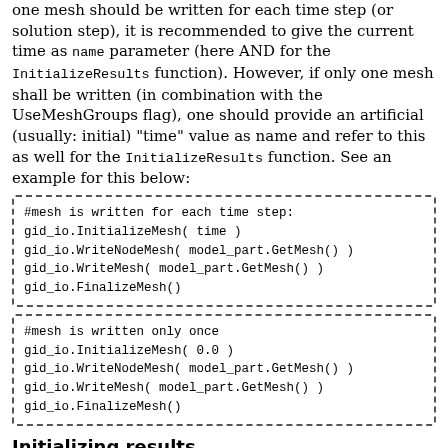one mesh should be written for each time step (or solution step), it is recommended to give the current time as name parameter (here AND for the InitializeResults function). However, if only one mesh shall be written (in combination with the UseMeshGroups flag), one should provide an artificial (usually: initial) "time" value as name and refer to this as well for the InitializeResults function. See an example for this below:
#mesh is written for each time step:
gid_io.InitializeMesh( time )
gid_io.WriteNodeMesh( model_part.GetMesh() )
gid_io.WriteMesh( model_part.GetMesh() )
gid_io.FinalizeMesh()
#mesh is written only once
gid_io.InitializeMesh( 0.0 )
gid_io.WriteNodeMesh( model_part.GetMesh() )
gid_io.WriteMesh( model_part.GetMesh() )
gid_io.FinalizeMesh()
Initializing results
A set of results has to be initialized and finalized each time a new mesh is used. Here, three cases can be distinguished:
Case 1: ...